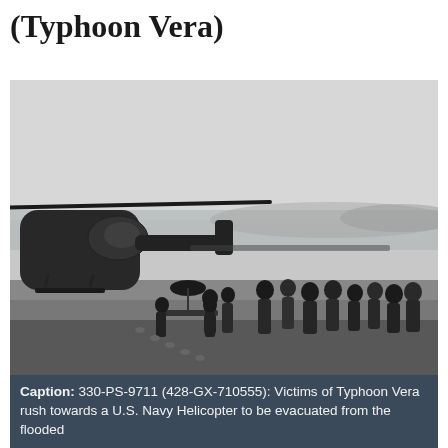(Typhoon Vera)
[Figure (photo): Black and white historical photograph showing victims of Typhoon Vera rushing towards a U.S. Navy Helicopter on a sandy/muddy beach to be evacuated from the flooded area. People are carrying belongings and a stretcher. A military helicopter is visible on the left side of the image.]
Caption: 330-PS-9711 (428-GX-710555): Victims of Typhoon Vera rush towards a U.S. Navy Helicopter to be evacuated from the flooded